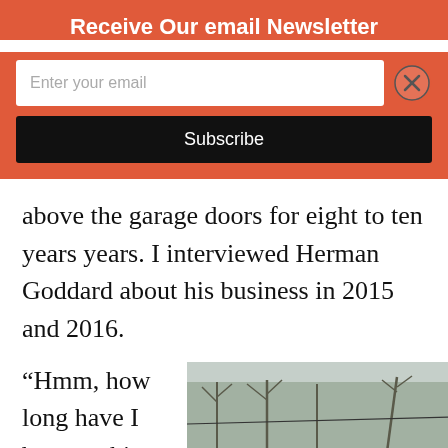Receive Our email Newsletter
above the garage doors for eight to ten years years. I interviewed Herman Goddard about his business in 2015 and 2016.
“Hmm, how long have I been at this,
[Figure (photo): Exterior of a small automotive garage/shop building with white brick walls, garage doors, signage, and several cars parked in front. Bare trees visible in background.]